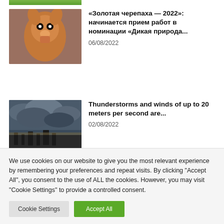[Figure (photo): Partial top of a nature photo (green foliage), cropped at top of visible area]
[Figure (photo): Close-up photo of a red squirrel facing the camera]
«Золотая черепаха — 2022»: начинается прием работ в номинации «Дикая природа...
06/08/2022
[Figure (photo): Photo of stormy sky with dark clouds and city silhouette at bottom]
Thunderstorms and winds of up to 20 meters per second are...
02/08/2022
We use cookies on our website to give you the most relevant experience by remembering your preferences and repeat visits. By clicking "Accept All", you consent to the use of ALL the cookies. However, you may visit "Cookie Settings" to provide a controlled consent.